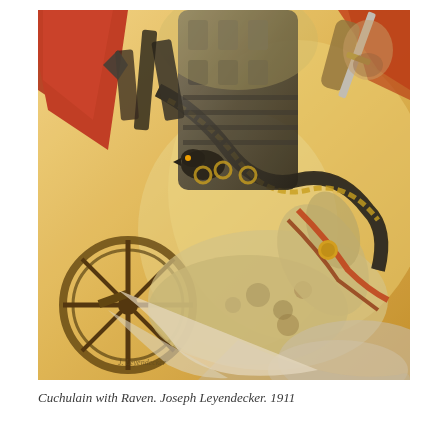[Figure (illustration): A dramatic painting depicting Cuchulain with Raven, a Celtic warrior figure riding a chariot pulled by horses, holding a sword aloft. The warrior wears ornate armor with a raven depicted. The scene is dynamic with swirling motion. Painted by Joseph Leyendecker in 1911. The painting uses warm golden, brown, red, and dark tones.]
Cuchulain with Raven. Joseph Leyendecker. 1911